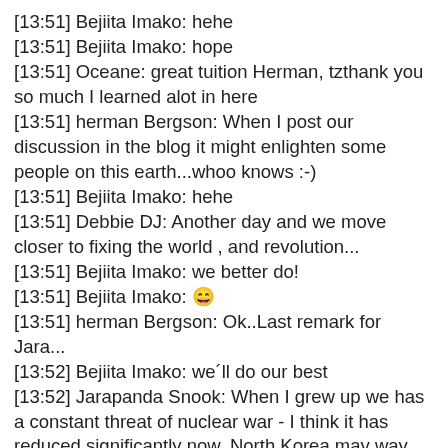[13:51] Bejiita Imako: hehe
[13:51] Bejiita Imako: hope
[13:51] Oceane: great tuition Herman, tzthank you so much I learned alot in here
[13:51] herman Bergson: When I post our discussion in the blog it might enlighten some people on this earth...whoo knows :-)
[13:51] Bejiita Imako: hehe
[13:51] Debbie DJ: Another day and we move closer to fixing the world , and revolution...
[13:51] Bejiita Imako: we better do!
[13:51] Bejiita Imako: 😄
[13:51] herman Bergson: Ok..Last remark for Jara...
[13:52] Bejiita Imako: we´ll do our best
[13:52] Jarapanda Snook: When I grew up we has a constant threat of nuclear war - I think it has reduced significantly now. North Korea may way start something up against SK, but the major powers are more likely to squash it than proliferate it nowadays
[13:52] herman Bergson: Indeed Jara.....
[13:53] Bejiita Imako: hmm hope so indeed
[13:53] herman Bergson: As I child I was instructed to go and